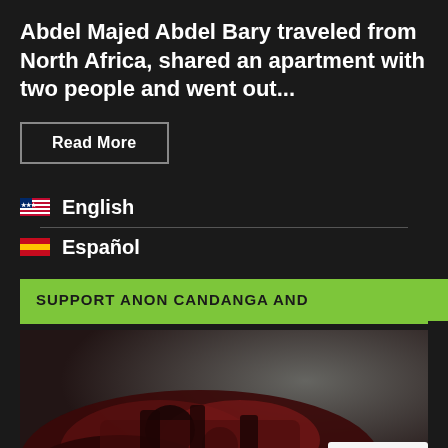Abdel Majed Abdel Bary traveled from North Africa, shared an apartment with two people and went out...
Read More
🇺🇸 English
🇪🇸 Español
SUPPORT ANON CANDANGA AND
[Figure (photo): Dark image showing red and black military/mechanical equipment]
Privacy & Cookies Policy